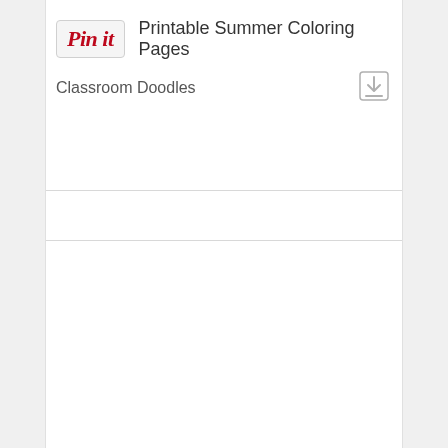[Figure (screenshot): Pinterest 'Pin it' button with red italic script logo]
Printable Summer Coloring Pages
Classroom Doodles